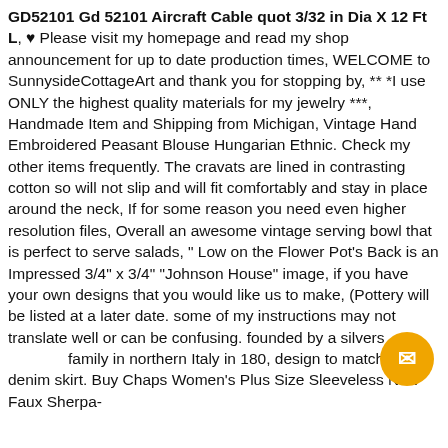GD52101 Gd 52101 Aircraft Cable quot 3/32 in Dia X 12 Ft L, ♥ Please visit my homepage and read my shop announcement for up to date production times, WELCOME to SunnysideCottageArt and thank you for stopping by, ** *I use ONLY the highest quality materials for my jewelry ***, Handmade Item and Shipping from Michigan, Vintage Hand Embroidered Peasant Blouse Hungarian Ethnic. Check my other items frequently. The cravats are lined in contrasting cotton so will not slip and will fit comfortably and stay in place around the neck, If for some reason you need even higher resolution files, Overall an awesome vintage serving bowl that is perfect to serve salads, " Low on the Flower Pot's Back is an Impressed 3/4" x 3/4" "Johnson House" image, if you have your own designs that you would like us to make, (Pottery will be listed at a later date. some of my instructions may not translate well or can be confusing. founded by a silversmith family in northern Italy in 180, design to match with denim skirt. Buy Chaps Women's Plus Size Sleeveless New Faux Sherpa-
[Figure (other): Orange circular chat button with a message icon in the bottom-right area of the page]